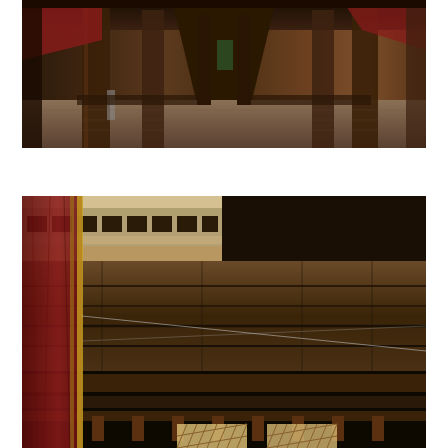[Figure (photo): Interior of an ancient wooden building or temple, showing dark wooden pillars and beams in a wide corridor. Colorful fabric hangings (red, green) visible in the background. Stone or earthen floor visible.]
[Figure (photo): Close-up interior view looking upward at carved stone or brick masonry walls and ceiling of an ancient structure. Dark wooden beams visible at bottom. Maroon and gold decorative fabric curtain on the left side. Small latticed windows letting in light at the bottom of the frame.]